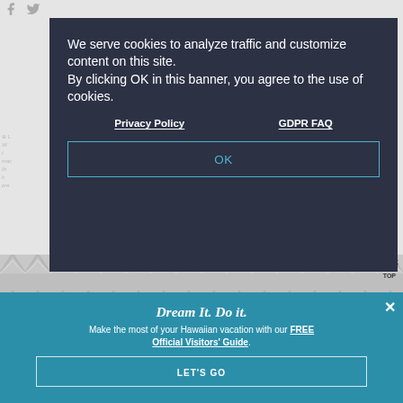[Figure (screenshot): Gray background page with social media icons (Facebook, Twitter) at top left, partial globe icon and text content partially visible behind modal overlay, chevron/wave pattern decorative stripe, teal footer area with copyright and links.]
We serve cookies to analyze traffic and customize content on this site. By clicking OK in this banner, you agree to the use of cookies.
Privacy Policy    GDPR FAQ
OK
BACK TO TOP
Dream It. Do it.
Make the most of your Hawaiian vacation with our FREE Official Visitors' Guide.
LET'S GO
© 2019 Hawaii Tourism Authority
Contact Us    Privacy Policy
Accessibility Statement    Terms & Conditions